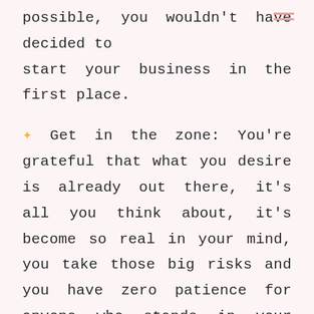possible, you wouldn't have decided to start your business in the first place.
✦ Get in the zone: You're grateful that what you desire is already out there, it's all you think about, it's become so real in your mind, you take those big risks and you have zero patience for anyone who stands in your way.
✦Making a firm decision sets everything in motion, your mindset and